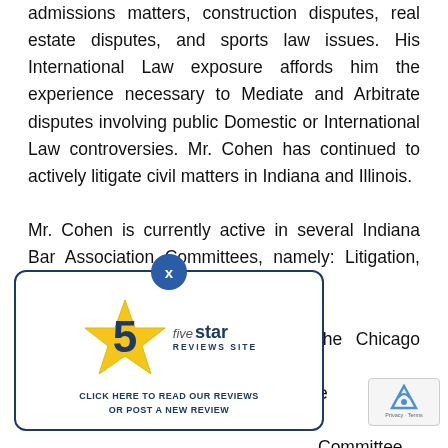admissions matters, construction disputes, real estate disputes, and sports law issues. His International Law exposure affords him the experience necessary to Mediate and Arbitrate disputes involving public Domestic or International Law controversies. Mr. Cohen has continued to actively litigate civil matters in Indiana and Illinois.
Mr. Cohen is currently active in several Indiana Bar Association Committees, namely: Litigation, Ethics and Committee Section Councils. the Chicago Bar Association e Condominium Committee and Committee of the Real Property has lectured at Real Estate by the Illinois Institu tion. He has also lectu
[Figure (logo): Five Star Reviews Site widget with a gold star, blue number 5, and text 'fivestar REVIEWS SITE' with call to action 'CLICK HERE TO READ OUR REVIEWS OR POST A NEW REVIEW']